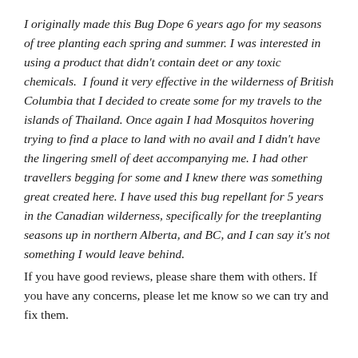I originally made this Bug Dope 6 years ago for my seasons of tree planting each spring and summer. I was interested in using a product that didn't contain deet or any toxic chemicals. I found it very effective in the wilderness of British Columbia that I decided to create some for my travels to the islands of Thailand. Once again I had Mosquitos hovering trying to find a place to land with no avail and I didn't have the lingering smell of deet accompanying me. I had other travellers begging for some and I knew there was something great created here. I have used this bug repellant for 5 years in the Canadian wilderness, specifically for the treeplanting seasons up in northern Alberta, and BC, and I can say it's not something I would leave behind.
If you have good reviews, please share them with others. If you have any concerns, please let me know so we can try and fix them.